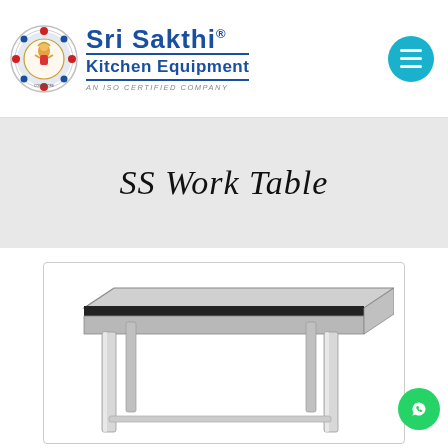[Figure (logo): Sri Sakthi Kitchen Equipment logo with circular emblem, brand name in blue, 'Kitchen Equipment' subtitle, and 'AN ISO CERTIFIED COMPANY' tagline. Menu hamburger button on the right.]
SS Work Table
[Figure (photo): Stainless steel work table with a flat rectangular top and four metal legs, viewed in perspective from above-front angle.]